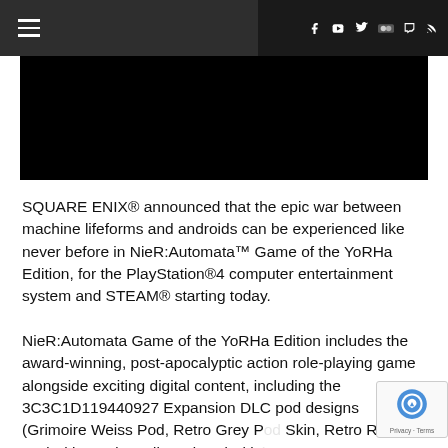≡  [social icons: facebook, youtube, twitter, flickr, twitch, rss]
[Figure (photo): Black rectangular image area, appears to be a video or dark screenshot]
SQUARE ENIX® announced that the epic war between machine lifeforms and androids can be experienced like never before in NieR:Automata™ Game of the YoRHa Edition, for the PlayStation®4 computer entertainment system and STEAM® starting today.
NieR:Automata Game of the YoRHa Edition includes the award-winning, post-apocalyptic action role-playing game alongside exciting digital content, including the 3C3C1D119440927 Expansion DLC pod designs (Grimoire Weiss Pod, Retro Grey Pod Skin, Retro Red Pod Skin, and Cardboard Pod Skin)